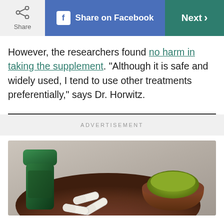Share | Share on Facebook | Next
However, the researchers found no harm in taking the supplement. “Although it is safe and widely used, I tend to use other treatments preferentially,” says Dr. Horwitz.
ADVERTISEMENT
[Figure (photo): Photo of green supplement capsules/bottle and a wooden bowl filled with green herbal powder on a dark wooden plate against a grey stone surface.]